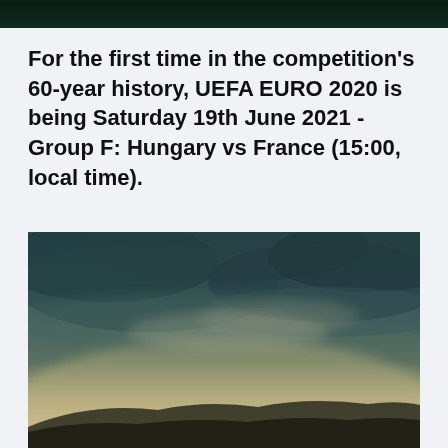[Figure (photo): Top strip of a dark image, appears to be a stadium or dark background, partially cropped at top of page]
For the first time in the competition's 60-year history, UEFA EURO 2020 is being Saturday 19th June 2021 - Group F: Hungary vs France (15:00, local time).
[Figure (photo): Atmospheric sky photo showing dramatic clouds with teal/dark tones at top fading to warm light near a silhouetted horizon, moody landscape photograph]